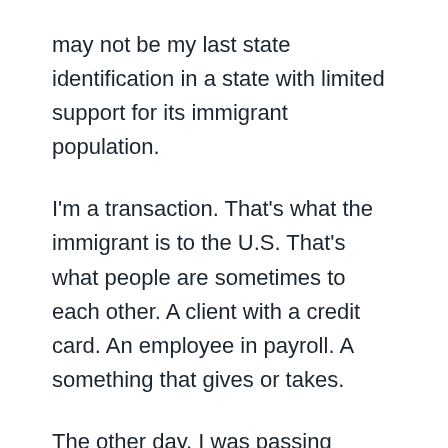may not be my last state identification in a state with limited support for its immigrant population.
I'm a transaction. That's what the immigrant is to the U.S. That's what people are sometimes to each other. A client with a credit card. An employee in payroll. A something that gives or takes.
The other day, I was passing through security, which is to say the other day I was in Washington, DC, and had to place my bag and my laptop on the conveyor belt and pass